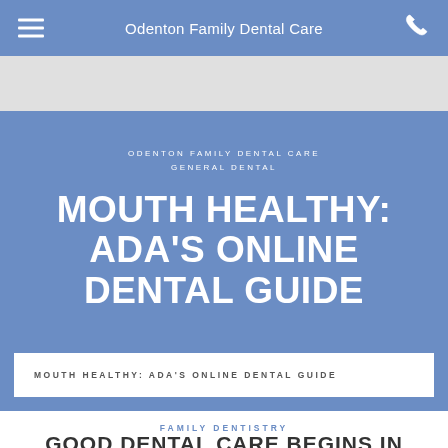Odenton Family Dental Care
MOUTH HEALTHY: ADA'S ONLINE DENTAL GUIDE
ODENTON FAMILY DENTAL CARE
GENERAL DENTAL
MOUTH HEALTHY: ADA'S ONLINE DENTAL GUIDE
FAMILY DENTISTRY
GOOD DENTAL CARE BEGINS IN